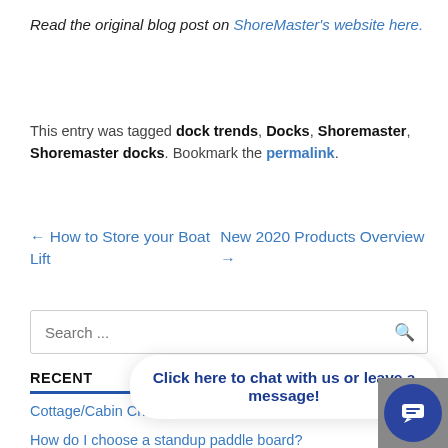Read the original blog post on ShoreMaster's website here.
This entry was tagged dock trends, Docks, Shoremaster, Shoremaster docks. Bookmark the permalink.
← How to Store your Boat Lift   New 2020 Products Overview →
Search ...
Click here to chat with us or leave a message!
RECENT
Cottage/Cabin Christmas Gift Ideas
How do I choose a standup paddle board?